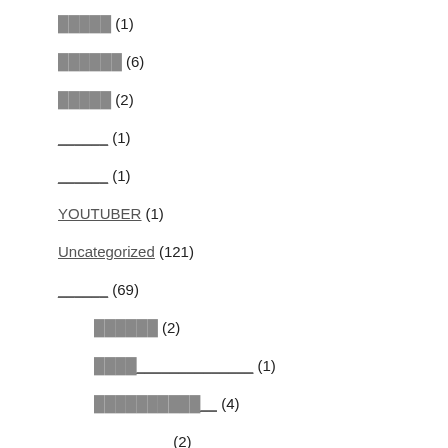█████ (1)
██████ (6)
█████ (2)
______ (1)
______ (1)
YOUTUBER (1)
Uncategorized (121)
______ (69)
██████ (2)
████ _____________ (1)
██████████ (4)
_________ (2)
██████ (9)
________ (1)
██ __________ (3)
URA _____________________ (1)
_____ (6)
████████████ (15)
_________ (5)